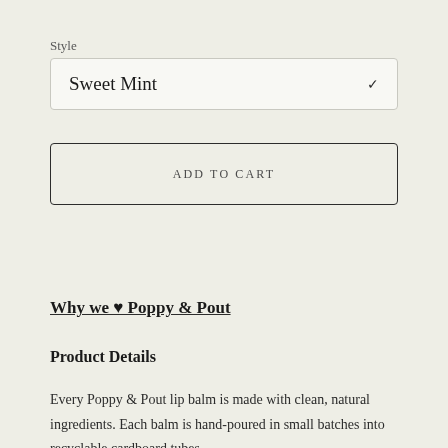Style
Sweet Mint
ADD TO CART
Why we ♥ Poppy & Pout
Product Details
Every Poppy & Pout lip balm is made with clean, natural ingredients. Each balm is hand-poured in small batches into recyclable cardboard tubes.